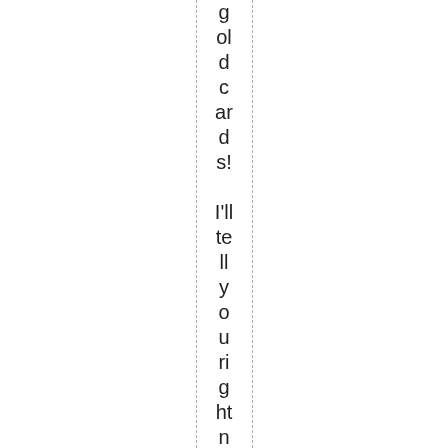gold cards! I'll tell you right now, Offy really came th